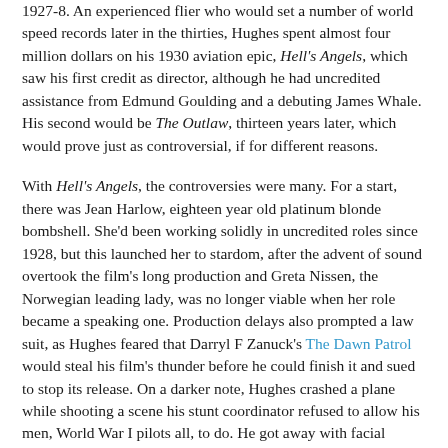1927-8. An experienced flier who would set a number of world speed records later in the thirties, Hughes spent almost four million dollars on his 1930 aviation epic, Hell's Angels, which saw his first credit as director, although he had uncredited assistance from Edmund Goulding and a debuting James Whale. His second would be The Outlaw, thirteen years later, which would prove just as controversial, if for different reasons.
With Hell's Angels, the controversies were many. For a start, there was Jean Harlow, eighteen year old platinum blonde bombshell. She'd been working solidly in uncredited roles since 1928, but this launched her to stardom, after the advent of sound overtook the film's long production and Greta Nissen, the Norwegian leading lady, was no longer viable when her role became a speaking one. Production delays also prompted a law suit, as Hughes feared that Darryl F Zanuck's The Dawn Patrol would steal his film's thunder before he could finish it and sued to stop its release. On a darker note, Hughes crashed a plane while shooting a scene his stunt coordinator refused to allow his men, World War I pilots all, to do. He got away with facial surgery, but